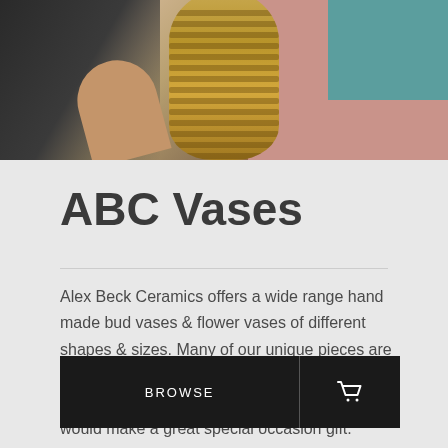[Figure (photo): Top portion of page showing a person holding a woven basket against a pink/teal background]
ABC Vases
Alex Beck Ceramics offers a wide range hand made bud vases & flower vases of different shapes & sizes. Many of our unique pieces are perfect for the kitchen & home. We also have a nice selection of textured & carved vases that would make a great special occasion gift.
[Figure (other): BROWSE button with shopping cart icon]